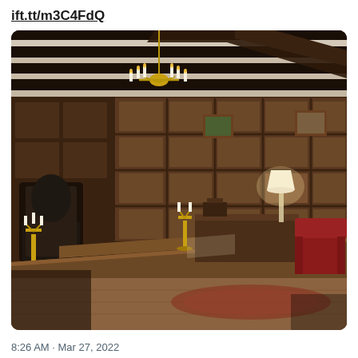ift.tt/m3C4FdQ
[Figure (photo): Interior of a grand historic room with dark wood wall paneling in grid pattern, coffered/beamed ceiling with white plaster between dark wooden beams, ornate brass chandelier with candle-style lights hanging from center, large carved wooden dining table in foreground with brass candelabra, a wooden bench, arched doorway with mirror on left wall, a desk with a table lamp in background center, a red wingback armchair on right side, oriental rug on wooden floor, framed paintings on paneled walls.]
8:26 AM · Mar 27, 2022